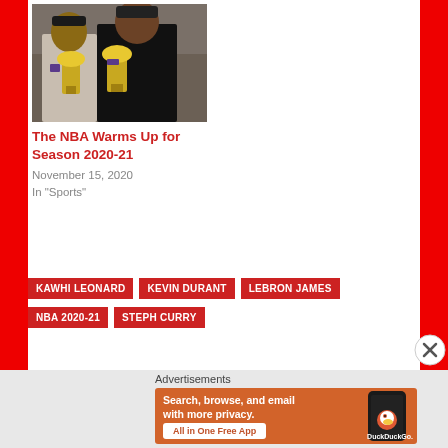[Figure (photo): Two NBA players holding championship trophies]
The NBA Warms Up for Season 2020-21
November 15, 2020
In "Sports"
KAWHI LEONARD
KEVIN DURANT
LEBRON JAMES
NBA 2020-21
STEPH CURRY
Advertisements
[Figure (screenshot): DuckDuckGo advertisement banner: Search, browse, and email with more privacy. All in One Free App]